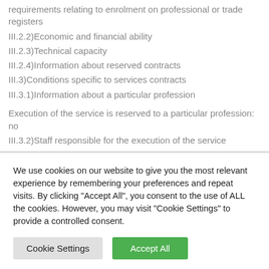requirements relating to enrolment on professional or trade registers
III.2.2)Economic and financial ability
III.2.3)Technical capacity
III.2.4)Information about reserved contracts
III.3)Conditions specific to services contracts
III.3.1)Information about a particular profession
Execution of the service is reserved to a particular profession: no
III.3.2)Staff responsible for the execution of the service
We use cookies on our website to give you the most relevant experience by remembering your preferences and repeat visits. By clicking "Accept All", you consent to the use of ALL the cookies. However, you may visit "Cookie Settings" to provide a controlled consent.